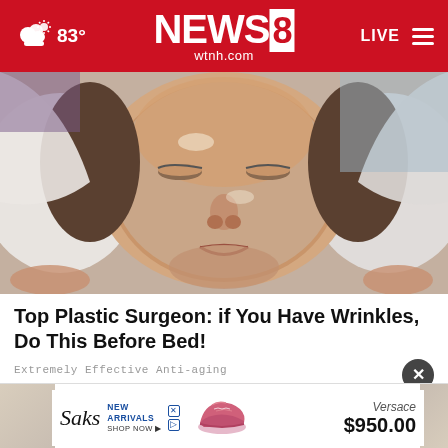NEWS8 wtnh.com — 83° — LIVE
[Figure (photo): Woman lying down with a clear face mask/treatment applied, wrapped in white towels, receiving a facial skin treatment]
Top Plastic Surgeon: if You Have Wrinkles, Do This Before Bed!
Extremely Effective Anti-aging
[Figure (other): Advertisement banner: Saks Fifth Avenue — New Arrivals Shop Now — pink sneaker shoe image — Versace $950.00]